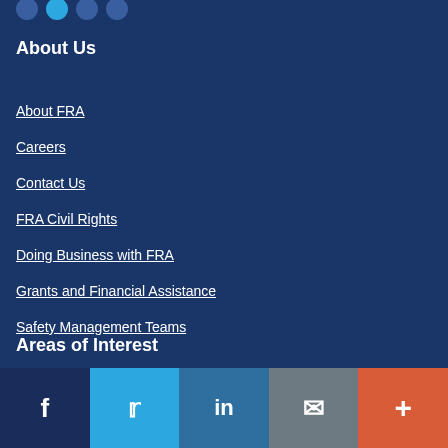About Us
About FRA
Careers
Contact Us
FRA Civil Rights
Doing Business with FRA
Grants and Financial Assistance
Safety Management Teams
Areas of Interest
f  Twitter  in  Email  +